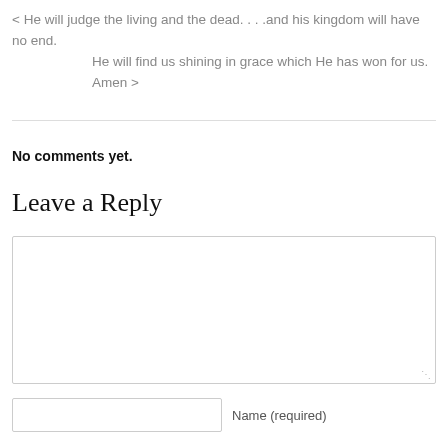< He will judge the living and the dead. . . .and his kingdom will have no end.
    He will find us shining in grace which He has won for us. Amen >
No comments yet.
Leave a Reply